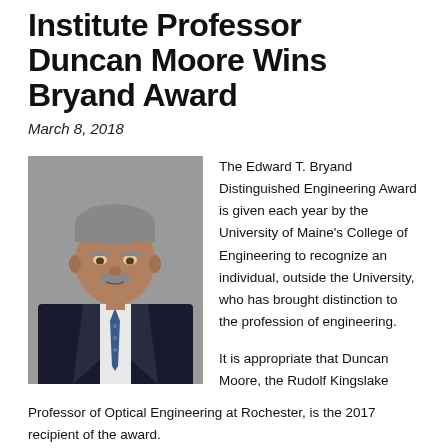Institute Professor Duncan Moore Wins Bryand Award
March 8, 2018
[Figure (photo): Portrait photo of a man in a suit and tie, approximately mid-60s, grey hair, mustache, wearing a dark pinstripe suit and blue tie.]
The Edward T. Bryand Distinguished Engineering Award is given each year by the University of Maine's College of Engineering to recognize an individual, outside the University, who has brought distinction to the profession of engineering.
It is appropriate that Duncan Moore, the Rudolf Kingslake Professor of Optical Engineering at Rochester, is the 2017 recipient of the award.